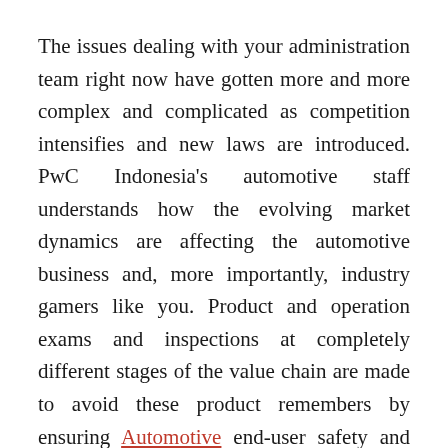The issues dealing with your administration team right now have gotten more and more complex and complicated as competition intensifies and new laws are introduced. PwC Indonesia's automotive staff understands how the evolving market dynamics are affecting the automotive business and, more importantly, industry gamers like you. Product and operation exams and inspections at completely different stages of the value chain are made to avoid these product remembers by ensuring Automotive end-user safety and security and compliance